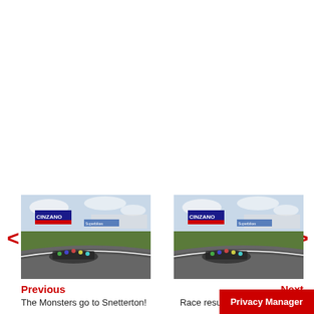[Figure (photo): Motorcycle race start scene with CINZANO advertising board at Snetterton circuit, field of motorcycles on track]
Previous
The Monsters go to Snetterton!
[Figure (photo): Motorcycle race start scene with CINZANO advertising board at Snetterton circuit, field of motorcycles on track]
Next
Race results: Snetterton - race two.
Privacy Manager